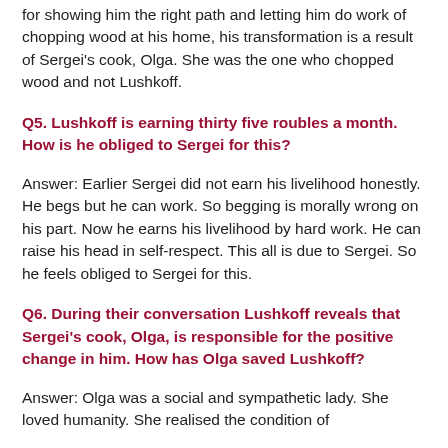for showing him the right path and letting him do work of chopping wood at his home, his transformation is a result of Sergei's cook, Olga. She was the one who chopped wood and not Lushkoff.
Q5. Lushkoff is earning thirty five roubles a month. How is he obliged to Sergei for this?
Answer: Earlier Sergei did not earn his livelihood honestly. He begs but he can work. So begging is morally wrong on his part. Now he earns his livelihood by hard work. He can raise his head in self-respect. This all is due to Sergei. So he feels obliged to Sergei for this.
Q6. During their conversation Lushkoff reveals that Sergei's cook, Olga, is responsible for the positive change in him. How has Olga saved Lushkoff?
Answer: Olga was a social and sympathetic lady. She loved humanity. She realised the condition of